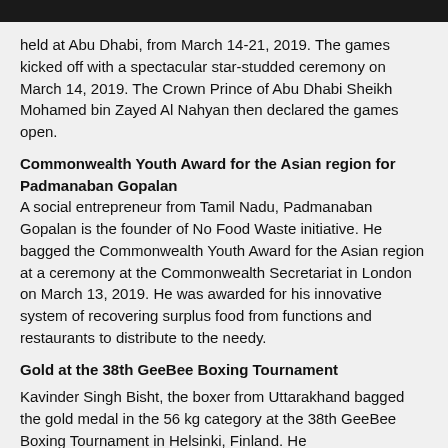held at Abu Dhabi, from March 14-21, 2019. The games kicked off with a spectacular star-studded ceremony on March 14, 2019. The Crown Prince of Abu Dhabi Sheikh Mohamed bin Zayed Al Nahyan then declared the games open.
Commonwealth Youth Award for the Asian region for Padmanaban Gopalan
A social entrepreneur from Tamil Nadu, Padmanaban Gopalan is the founder of No Food Waste initiative. He bagged the Commonwealth Youth Award for the Asian region at a ceremony at the Commonwealth Secretariat in London on March 13, 2019. He was awarded for his innovative system of recovering surplus food from functions and restaurants to distribute to the needy.
Gold at the 38th GeeBee Boxing Tournament
Kavinder Singh Bisht, the boxer from Uttarakhand bagged the gold medal in the 56 kg category at the 38th GeeBee Boxing Tournament in Helsinki, Finland. He